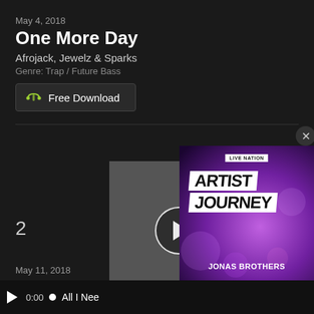May 4, 2018
One More Day
Afrojack, Jewelz & Sparks
Genre: Trap / Future Bass
Free Download
2
[Figure (screenshot): Music video thumbnail with play button circle overlay on gray background]
May 11, 2018
Fire
[Figure (photo): Live Nation Artist Journey podcast ad featuring Jonas Brothers with purple/pink bokeh background]
All I Nee
0:00